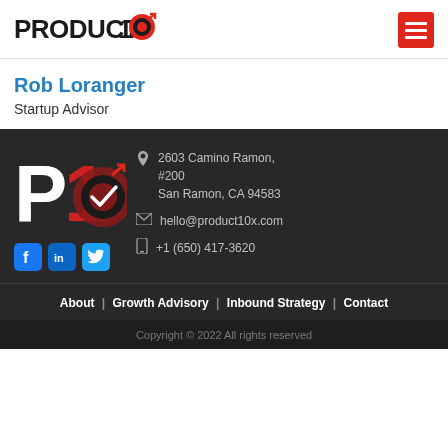[Figure (logo): Product 10x logo with text and red circle target icon with arrow]
Rob Loranger
Startup Advisor
[Figure (logo): Product 10x P10 logo in dark footer, white P, red 1, red/dark circle with checkmark and arrow]
2603 Camino Ramon, #200 San Ramon, CA 94583
hello@product10x.com
+1 (650) 417-3620
About | Growth Advisory | Inbound Strategy | Contact
Copyright © 2022 All rights reserved